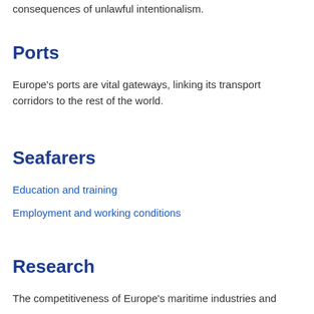consequences of unlawful intentionalism.
Ports
Europe's ports are vital gateways, linking its transport corridors to the rest of the world.
Seafarers
Education and training
Employment and working conditions
Research
The competitiveness of Europe's maritime industries and